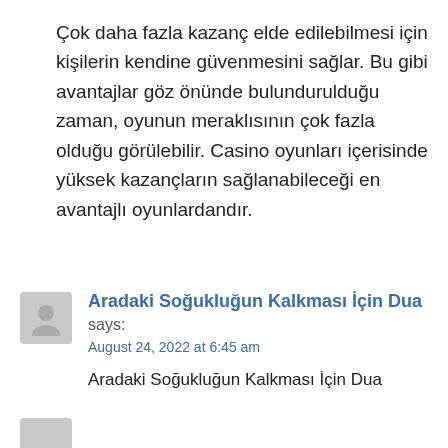Çok daha fazla kazanç elde edilebilmesi için kişilerin kendine güvenmesini sağlar. Bu gibi avantajlar göz önünde bulundurulduğu zaman, oyunun meraklısının çok fazla olduğu görülebilir. Casino oyunları içerisinde yüksek kazançların sağlanabileceği en avantajlı oyunlardandır.
Aradaki Soğukluğun Kalkması İçin Dua says:
August 24, 2022 at 6:45 am
Aradaki Soğukluğun Kalkması İçin Dua